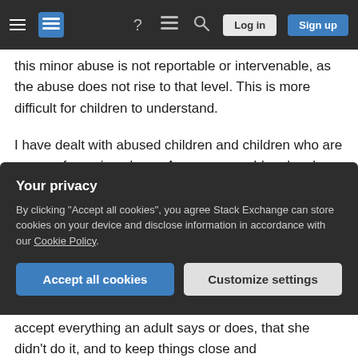Stack Exchange navigation bar with hamburger menu, logo, help, chat, search, Log in, Sign up buttons
this minor abuse is not reportable or intervenable, as the abuse does not rise to that level. This is more difficult for children to understand.
I have dealt with abused children and children who are aware of ongoing abuse. A common problem has been children do not understand when it is OK or necessary to intervene and when it is not OK.
Telling children "Many parents are lying to their children. Yes, that is bad, but no we do not do anything" is often confusing to children and to them
Your privacy
By clicking "Accept all cookies", you agree Stack Exchange can store cookies on your device and disclose information in accordance with our Cookie Policy.
Accept all cookies  Customize settings
accept everything an adult says or does, that she didn't do it, and to keep things close and